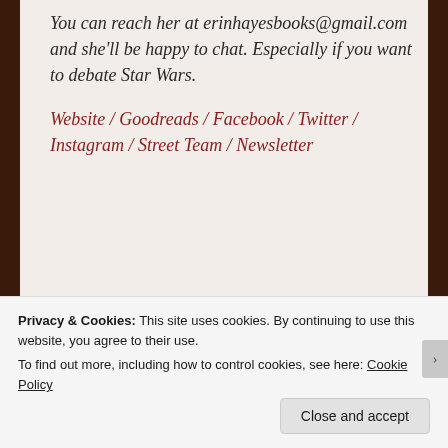You can reach her at erinhayesbooks@gmail.com and she'll be happy to chat. Especially if you want to debate Star Wars.
Website / Goodreads / Facebook / Twitter / Instagram / Street Team / Newsletter
[Figure (other): Ad banner with strikethrough text 'Need a website quickly,' and 'and on a budget?' alongside a WordPress logo (W)]
Privacy & Cookies: This site uses cookies. By continuing to use this website, you agree to their use.
To find out more, including how to control cookies, see here: Cookie Policy
Close and accept